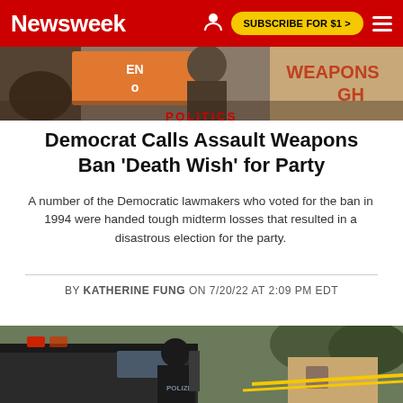Newsweek | SUBSCRIBE FOR $1 >
[Figure (photo): Protest image showing people holding signs including one that reads 'ENOUGH']
POLITICS
Democrat Calls Assault Weapons Ban 'Death Wish' for Party
A number of the Democratic lawmakers who voted for the ban in 1994 were handed tough midterm losses that resulted in a disastrous election for the party.
BY KATHERINE FUNG ON 7/20/22 AT 2:09 PM EDT
[Figure (photo): Police officer in black uniform standing next to a police vehicle with flashing lights, yellow crime scene tape visible in background, suburban neighborhood setting]